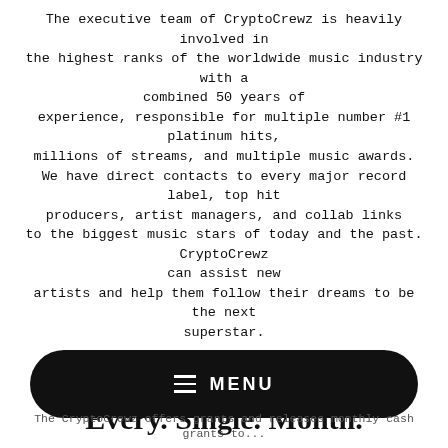The executive team of CryptoCrewz is heavily involved in the highest ranks of the worldwide music industry with a combined 50 years of experience, responsible for multiple number #1 platinum hits, millions of streams, and multiple music awards. We have direct contacts to every major record label, top hit producers, artist managers, and collab links to the biggest music stars of today and the past. CryptoCrewz can assist new artists and help them follow their dreams to be the next superstar.
Up to $20,000 grants on offer.
Every. Single. Month.
The CryptoCrewz offers grants and releases monthly cash grants to...